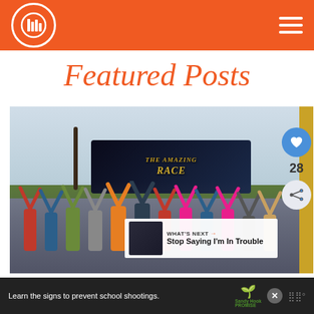Featured Posts - website header with logo and hamburger menu
Featured Posts
[Figure (photo): Group photo of contestants from The Amazing Race TV show, raising hands in front of The Amazing Race signage outdoors]
WHAT'S NEXT → Stop Saying I'm In Trouble
Learn the signs to prevent school shootings. Sandy Hook Promise